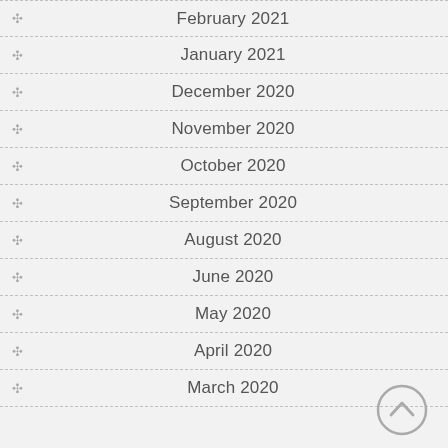February 2021
January 2021
December 2020
November 2020
October 2020
September 2020
August 2020
June 2020
May 2020
April 2020
March 2020
[Figure (illustration): Scroll to top button - circle with upward chevron arrow icon]